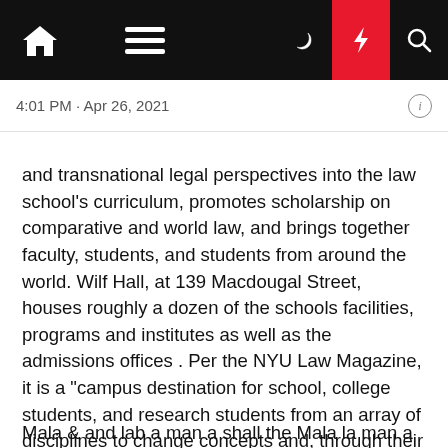Navigation bar with home, menu, moon, lightning, search icons
4:01 PM · Apr 26, 2021
and transnational legal perspectives into the law school's curriculum, promotes scholarship on comparative and world law, and brings together faculty, students, and students from around the world. Wilf Hall, at 139 Macdougal Street, houses roughly a dozen of the schools facilities, programs and institutes as well as the admissions offices . Per the NYU Law Magazine, it is a "campus destination for school, college students, and research students from an array of disciplines to change concepts and, through their work, shape the public discourse around the leading social and political issues of the day."
Mala & and lab a man a shall the Mala la man a man a